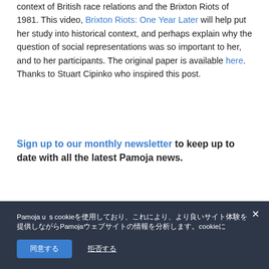...Caroline Howard's Brixton Study is rooted in the historical context of British race relations and the Brixton Riots of 1981. This video, Brixton Riots: One Year Later will help put her study into historical context, and perhaps explain why the question of social representations was so important to her, and to her participants. The original paper is available here. Thanks to Stuart Cipinko who inspired this post.
Sign up to our monthly newsletter to keep up to date with all the latest Pamoja news.
« Previous Post    Next Post »
Pamoja uses cookies... cookie bar text with accept/decline buttons